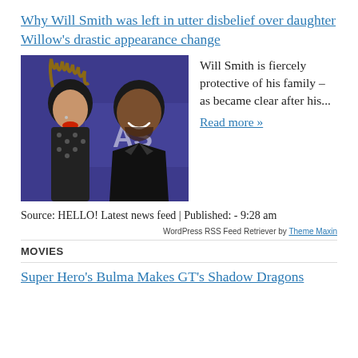Why Will Smith was left in utter disbelief over daughter Willow’s drastic appearance change
[Figure (photo): Photo of a young woman with dreadlocks and a man in a suit smiling, at what appears to be a public event with a blue backdrop]
Will Smith is fiercely protective of his family – as became clear after his...
Read more »
Source: HELLO! Latest news feed | Published: - 9:28 am
WordPress RSS Feed Retriever by Theme Maxin
MOVIES
Super Hero’s Bulma Makes GT’s Shadow Dragons